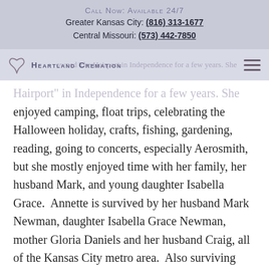Call Now: Available 24/7
Greater Kansas City: (816) 313-1677
Central Missouri: (573) 442-7850
Heartland Cremation
enjoyed camping, float trips, celebrating the Halloween holiday, crafts, fishing, gardening, reading, going to concerts, especially Aerosmith, but she mostly enjoyed time with her family, her husband Mark, and young daughter Isabella Grace.  Annette is survived by her husband Mark Newman, daughter Isabella Grace Newman, mother Gloria Daniels and her husband Craig, all of the Kansas City metro area.  Also surviving Annette is her father David Slaybaugh and his wife Antonia of Kindrod, ND, and a countless